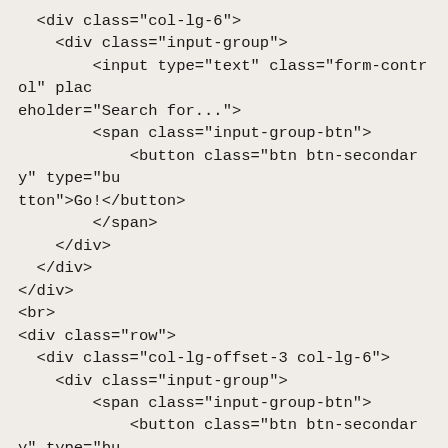<div class="col-lg-6">
    <div class="input-group">
        <input type="text" class="form-control" placeholder="Search for...">
        <span class="input-group-btn">
            <button class="btn btn-secondary" type="button">Go!</button>
        </span>
    </div>
</div>
<br>
<div class="row">
  <div class="col-lg-offset-3 col-lg-6">
    <div class="input-group">
        <span class="input-group-btn">
            <button class="btn btn-secondary" type="button">Hate it</button>
        </span>
        <input type="text" class="form-control" placeholder="Product name">
        <span class="input-group-btn">
            <button class="btn btn-secondary" type="button">Love it</button>
        </span>